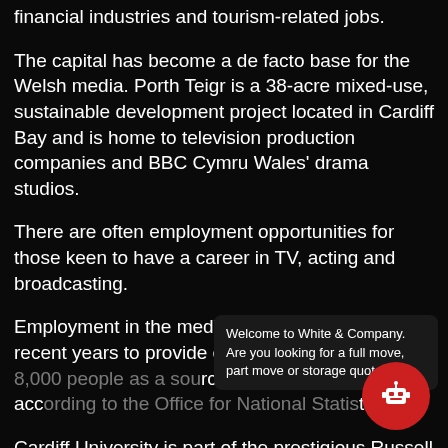financial industries and tourism-related jobs.
The capital has become a de facto base for the Welsh media. Porth Teigr is a 38-acre mixed-use, sustainable development project located in Cardiff Bay and is home to television production companies and BBC Cymru Wales' drama studios.
There are often employment opportunities for those keen to have a career in TV, acting and broadcasting.
Employment in the media sector has grown over recent years to provide employment for around 8,000 people as a source, according to the Office for National Statistics.
Cardiff University is part of the prestigious Russell Group of research-intensive universities